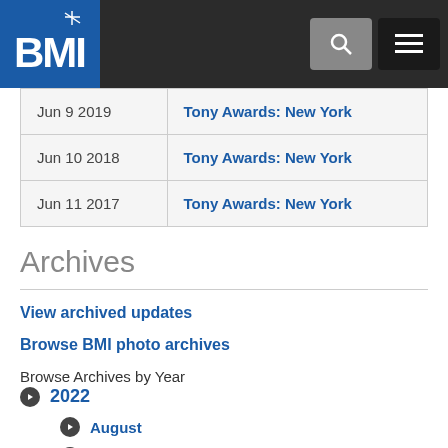BMI website header with logo, search and menu icons
| Date | Event |
| --- | --- |
| Jun 9 2019 | Tony Awards: New York |
| Jun 10 2018 | Tony Awards: New York |
| Jun 11 2017 | Tony Awards: New York |
Archives
View archived updates
Browse BMI photo archives
Browse Archives by Year
2022
August
July
June (partially visible)